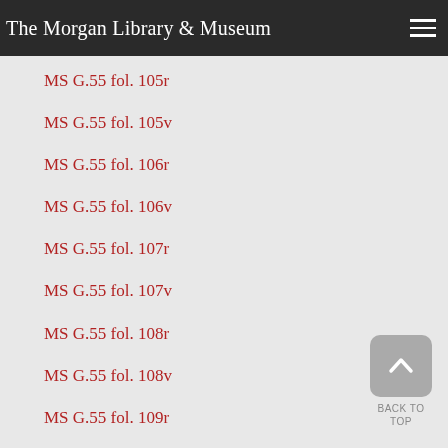The Morgan Library & Museum
MS G.55 fol. 105r
MS G.55 fol. 105v
MS G.55 fol. 106r
MS G.55 fol. 106v
MS G.55 fol. 107r
MS G.55 fol. 107v
MS G.55 fol. 108r
MS G.55 fol. 108v
MS G.55 fol. 109r
MS G.55 fol. 109v